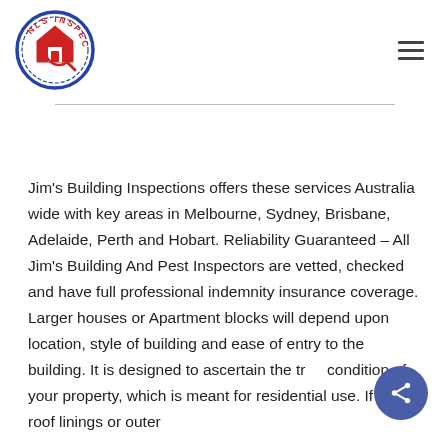[Figure (logo): NLS Inspections circular logo with house and magnifying glass icon, red and blue colors]
Jim's Building Inspections offers these services Australia wide with key areas in Melbourne, Sydney, Brisbane, Adelaide, Perth and Hobart. Reliability Guaranteed – All Jim's Building And Pest Inspectors are vetted, checked and have full professional indemnity insurance coverage. Larger houses or Apartment blocks will depend upon location, style of building and ease of entry to the building. It is designed to ascertain the true condition of your property, which is meant for residential use. If the roof linings or outer